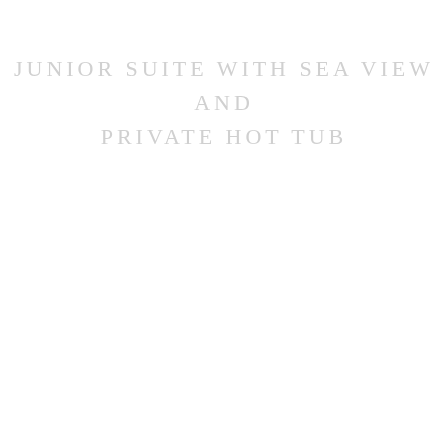JUNIOR SUITE WITH SEA VIEW AND PRIVATE HOT TUB